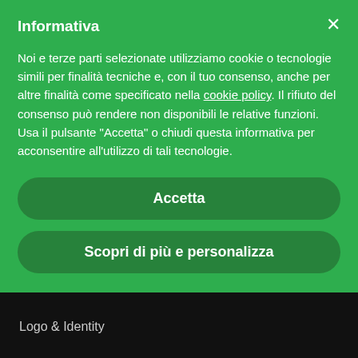Informativa
Noi e terze parti selezionate utilizziamo cookie o tecnologie simili per finalità tecniche e, con il tuo consenso, anche per altre finalità come specificato nella cookie policy. Il rifiuto del consenso può rendere non disponibili le relative funzioni. Usa il pulsante "Accetta" o chiudi questa informativa per acconsentire all'utilizzo di tali tecnologie.
Accetta
Scopri di più e personalizza
Logo & Identity
Ave Guide
Content Management
Support